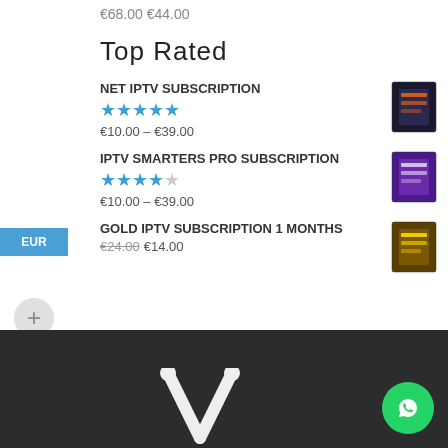€68.00 €44.00
Top Rated
NET IPTV SUBSCRIPTION
★★★★★
€10.00 – €39.00
IPTV SMARTERS PRO SUBSCRIPTION
★★★★☆
€10.00 – €39.00
GOLD IPTV SUBSCRIPTION 1 MONTHS
€24.00 €14.00
[Figure (screenshot): Dark footer area with a V-shaped logo at center bottom and a green WhatsApp icon button in the bottom right]